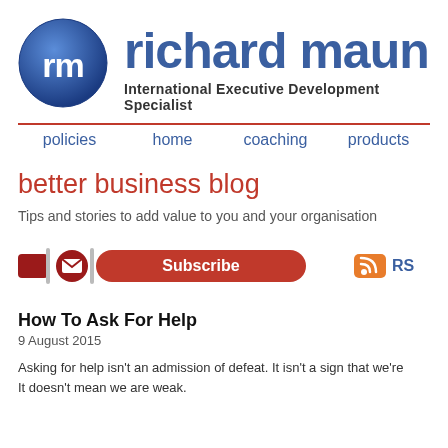[Figure (logo): Richard Maun logo: blue circle with white 'rm' text, next to 'richard maun' brand name and subtitle 'International Executive Development Specialist']
policies   home   coaching   products
better business blog
Tips and stories to add value to you and your organisation
[Figure (infographic): Red Subscribe button with envelope icon, and orange RSS icon to the right]
How To Ask For Help
9 August 2015
Asking for help isn't an admission of defeat. It isn't a sign that we're... It doesn't mean we are weak.